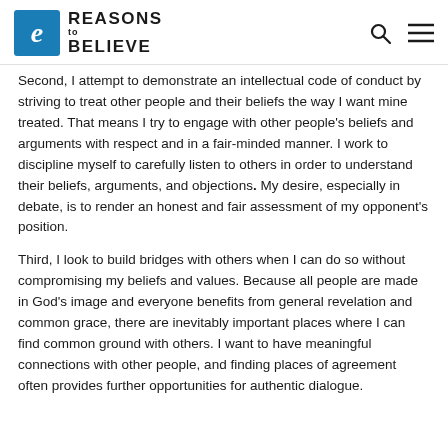Reasons to Believe
Second, I attempt to demonstrate an intellectual code of conduct by striving to treat other people and their beliefs the way I want mine treated. That means I try to engage with other people's beliefs and arguments with respect and in a fair-minded manner. I work to discipline myself to carefully listen to others in order to understand their beliefs, arguments, and objections. My desire, especially in debate, is to render an honest and fair assessment of my opponent's position.
Third, I look to build bridges with others when I can do so without compromising my beliefs and values. Because all people are made in God's image and everyone benefits from general revelation and common grace, there are inevitably important places where I can find common ground with others. I want to have meaningful connections with other people, and finding places of agreement often provides further opportunities for authentic dialogue.